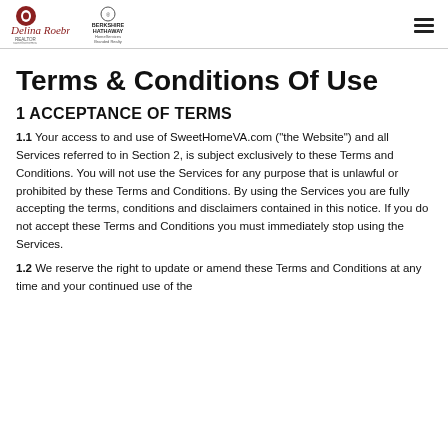Delina Roebruck REALTOR | Berkshire Hathaway HomeServices | Branded Realty
Terms & Conditions Of Use
1 ACCEPTANCE OF TERMS
1.1 Your access to and use of SweetHomeVA.com ("the Website") and all Services referred to in Section 2, is subject exclusively to these Terms and Conditions. You will not use the Services for any purpose that is unlawful or prohibited by these Terms and Conditions. By using the Services you are fully accepting the terms, conditions and disclaimers contained in this notice. If you do not accept these Terms and Conditions you must immediately stop using the Services.
1.2 We reserve the right to update or amend these Terms and Conditions at any time and your continued use of the